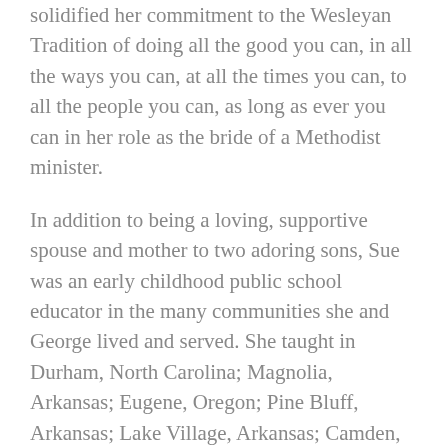solidified her commitment to the Wesleyan Tradition of doing all the good you can, in all the ways you can, at all the times you can, to all the people you can, as long as ever you can in her role as the bride of a Methodist minister.
In addition to being a loving, supportive spouse and mother to two adoring sons, Sue was an early childhood public school educator in the many communities she and George lived and served. She taught in Durham, North Carolina; Magnolia, Arkansas; Eugene, Oregon; Pine Bluff, Arkansas; Lake Village, Arkansas; Camden, Arkansas; and Dumas, Arkansas.
Although always an educator, Sue ended her role as a classroom teacher and turned her considerable energies toward a life of volunteer service. She was actively involved with United Methodist Women, Community Concerts, Court Appointed Special